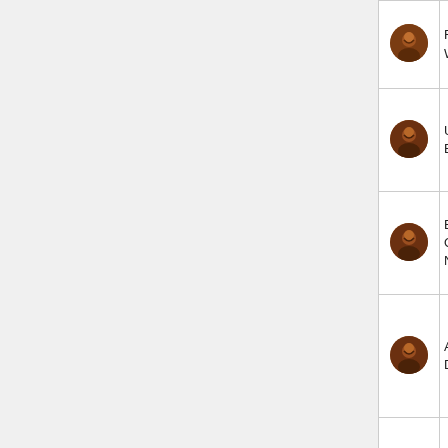| Icon | Title | Characters | Rating | Description |
| --- | --- | --- | --- | --- |
| [icon] | Final Wishes | □□□□□□□□□□ | ★ | An Na |
| [icon] | Unrealized Emotions | □□□□□□ | ★ | Co ch By Na |
| [icon] | By Any Other Name | □□□□□□□□□□□□ | ★ | Co ch By Na |
| [icon] | A Name Discarded | □□□□□□□□□ | ★ | Cle ch qu Kin De |
|  |  |  |  | De Mo Gu |